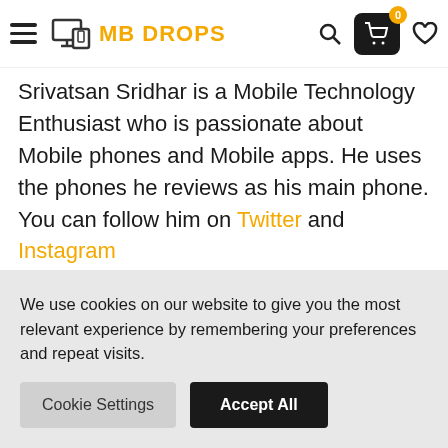MB DROPS navigation bar with hamburger menu, logo, search, cart (0), and heart icons
Srivatsan Sridhar is a Mobile Technology Enthusiast who is passionate about Mobile phones and Mobile apps. He uses the phones he reviews as his main phone. You can follow him on Twitter and Instagram
View all posts by Srivatsan Sridhar
We use cookies on our website to give you the most relevant experience by remembering your preferences and repeat visits.
Cookie Settings | Accept All